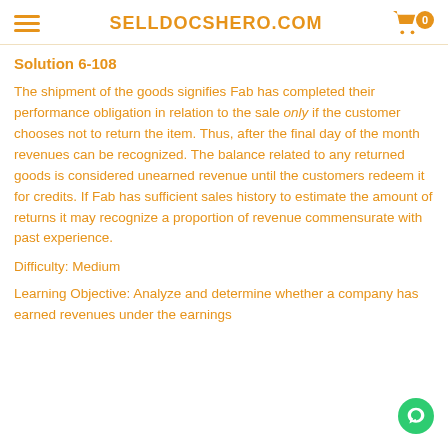SELLDOCSHERO.COM
Solution 6-108
The shipment of the goods signifies Fab has completed their performance obligation in relation to the sale only if the customer chooses not to return the item. Thus, after the final day of the month revenues can be recognized. The balance related to any returned goods is considered unearned revenue until the customers redeem it for credits. If Fab has sufficient sales history to estimate the amount of returns it may recognize a proportion of revenue commensurate with past experience.
Difficulty: Medium
Learning Objective: Analyze and determine whether a company has earned revenues under the earnings